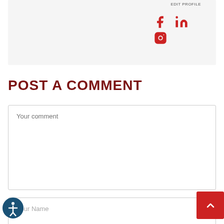[Figure (infographic): Social media icons: Facebook (f), LinkedIn (in), and Instagram (camera icon) in red, displayed on a light gray card background with a small author label at top right.]
POST A COMMENT
Your comment
Your Name